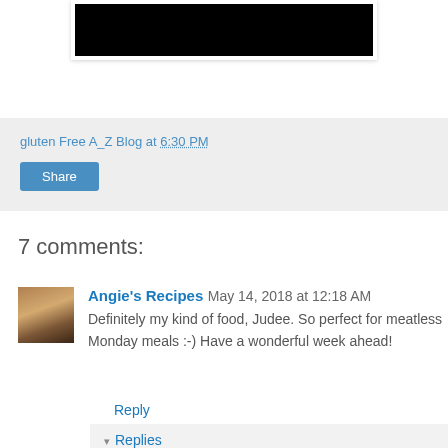[Figure (photo): Black image/video thumbnail at top center of page]
gluten Free A_Z Blog at 6:30 PM
Share
7 comments:
Angie's Recipes  May 14, 2018 at 12:18 AM
Definitely my kind of food, Judee. So perfect for meatless Monday meals :-) Have a wonderful week ahead!
Reply
▾ Replies